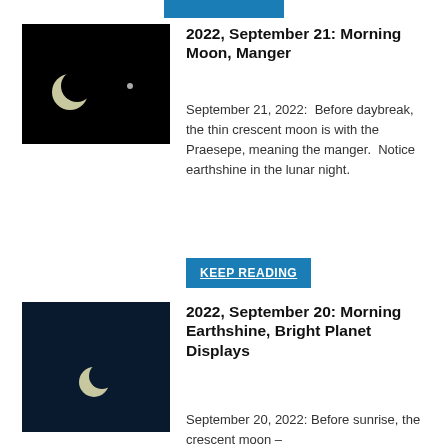[Figure (photo): Blue button/banner at top center of page]
[Figure (photo): Photograph of crescent moon and a star against a black night sky]
2022, September 21: Morning Moon, Manger
September 21, 2022:  Before daybreak, the thin crescent moon is with the Praesepe, meaning the manger.  Notice earthshine in the lunar night.
KEEP READING
[Figure (photo): Photograph of crescent moon against a deep navy blue night sky]
2022, September 20: Morning Earthshine, Bright Planet Displays
September 20, 2022: Before sunrise, the crescent moon –